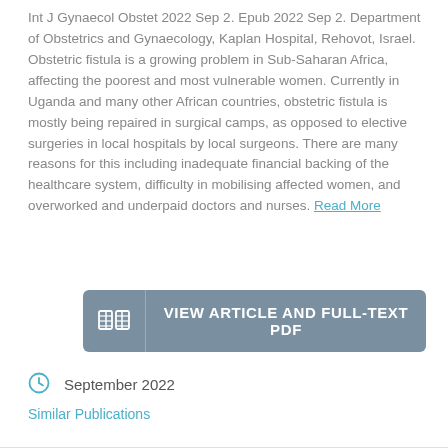Int J Gynaecol Obstet 2022 Sep 2. Epub 2022 Sep 2. Department of Obstetrics and Gynaecology, Kaplan Hospital, Rehovot, Israel. Obstetric fistula is a growing problem in Sub-Saharan Africa, affecting the poorest and most vulnerable women. Currently in Uganda and many other African countries, obstetric fistula is mostly being repaired in surgical camps, as opposed to elective surgeries in local hospitals by local surgeons. There are many reasons for this including inadequate financial backing of the healthcare system, difficulty in mobilising affected women, and overworked and underpaid doctors and nurses. Read More
VIEW ARTICLE AND FULL-TEXT PDF
September 2022
Similar Publications